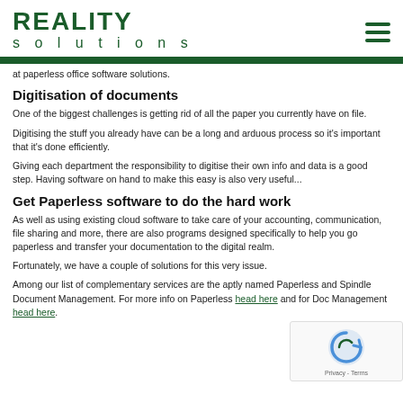REALITY solutions
at paperless office software solutions.
Digitisation of documents
One of the biggest challenges is getting rid of all the paper you currently have on file.
Digitising the stuff you already have can be a long and arduous process so it's important that it's done efficiently.
Giving each department the responsibility to digitise their own info and data is a good step. Having software on hand to make this easy is also very useful...
Get Paperless software to do the hard work
As well as using existing cloud software to take care of your accounting, communication, file sharing and more, there are also programs designed specifically to help you go paperless and transfer your documentation to the digital realm.
Fortunately, we have a couple of solutions for this very issue.
Among our list of complementary services are the aptly named Paperless and Spindle Document Management. For more info on Paperless head here and for Doc Management head here.